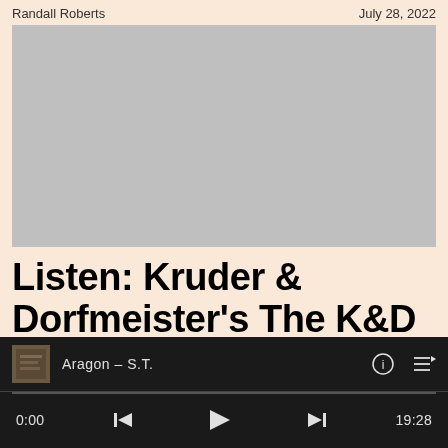Randall Roberts    July 28, 2022
[Figure (photo): Large gray placeholder image area for article]
Listen: Kruder & Dorfmeister's The K&D
[Figure (screenshot): Audio player bar showing track 'Aragon – S.T.' with playback controls, time 0:00 / 19:28]